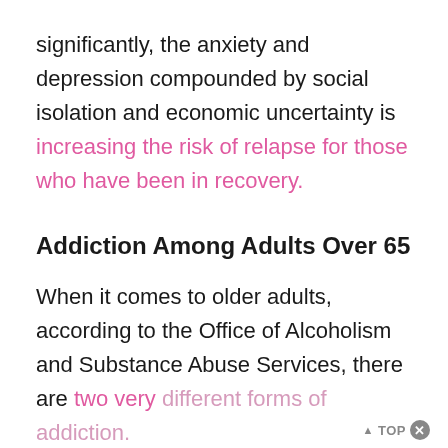significantly, the anxiety and depression compounded by social isolation and economic uncertainty is increasing the risk of relapse for those who have been in recovery.
Addiction Among Adults Over 65
When it comes to older adults, according to the Office of Alcoholism and Substance Abuse Services, there are two very different forms of addiction.
▲ TOP ✕